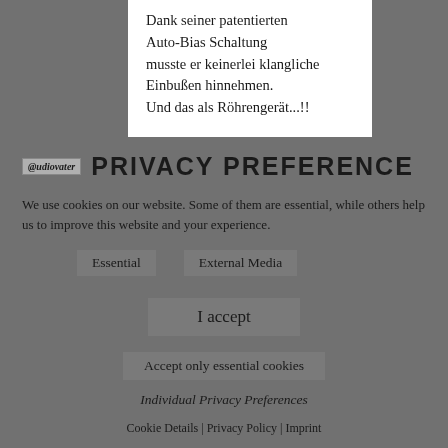Dank seiner patentierten Auto-Bias Schaltung musste er keinerlei klangliche Einbußen hinnehmen. Und das als Röhrengerät...!!
PRIVACY PREFERENCE
We use cookies on our website. Some of them are essential, while others help us to improve this website and your experience.
Essential
External Media
I accept
Accept only essential cookies
Individual Privacy Preferences
Cookie Details | Privacy Policy | Imprint